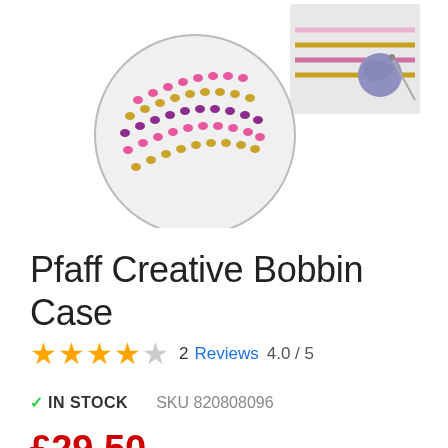[Figure (photo): Product image showing embroidery or beading sample with colorful rows of pink, gold, and purple beads/sequins in circular and rectangular frames, with a spool of thread and needle visible in the background.]
Pfaff Creative Bobbin Case
★★★★☆  2  Reviews  4.0 / 5
✓ IN STOCK    SKU 820808096
£29.50